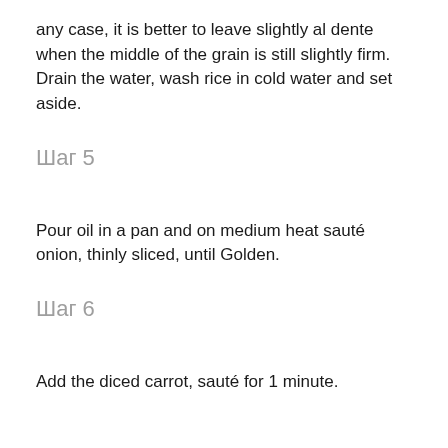any case, it is better to leave slightly al dente when the middle of the grain is still slightly firm. Drain the water, wash rice in cold water and set aside.
Шаг 5
Pour oil in a pan and on medium heat sauté onion, thinly sliced, until Golden.
Шаг 6
Add the diced carrot, sauté for 1 minute.